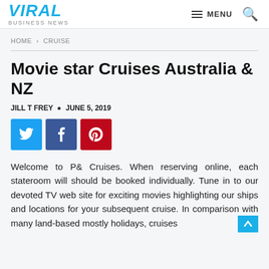VIRAL BUSINESS NEWS | MENU
HOME > CRUISE
Movie star Cruises Australia & NZ
JILL T FREY · JUNE 5, 2019
[Figure (other): Social sharing buttons: Twitter (blue), Facebook (dark blue), Pinterest (red)]
Welcome to P& Cruises. When reserving online, each stateroom will should be booked individually. Tune in to our devoted TV web site for exciting movies highlighting our ships and locations for your subsequent cruise. In comparison with many land-based mostly holidays, cruises